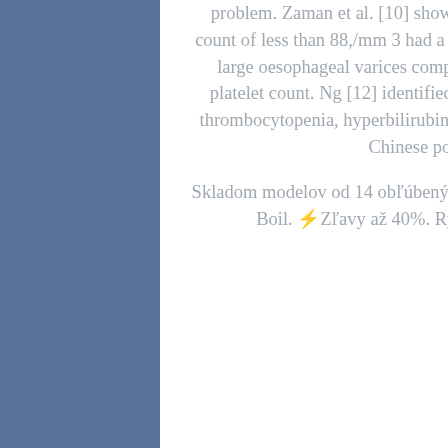problem. Zaman et al. [10] showed that patients with a platelet count of less than 88,/mm 3 had a fivefold increased risk of having large oesophageal varices compared with those with a higher platelet count. Ng [12] identified an association among ascites, thrombocytopenia, hyperbilirubinaemia and high-grade varices in Chinese population.
Skladom modelov od 14 obľúbených značiek napr. Meva, MSR, Jet Boil. ⚡Zľavy až 40%. Rýchle doručenie Od 20 €